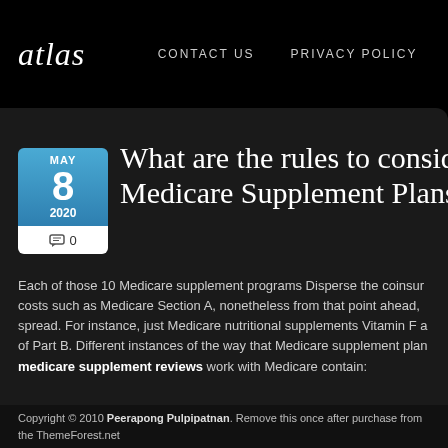Atlas  CONTACT US  PRIVACY POLICY
What are the rules to consider Medicare Supplement Plans?
Each of those 10 Medicare supplement programs Disperse the coinsurance costs such as Medicare Section A, nonetheless from that point ahead, it can spread. For instance, just Medicare nutritional supplements Vitamin F and of Part B. Different instances of the way that Medicare supplement plans medicare supplement reviews work with Medicare contain:
• All plans comprise addition for blood work at several levels; Plan K co Strategy L packs it at 75 per cent. The staying eight plans completely s completely
Copyright © 2010 Peerapong Pulpipatnan. Remove this once after purchase from the ThemeForest.net